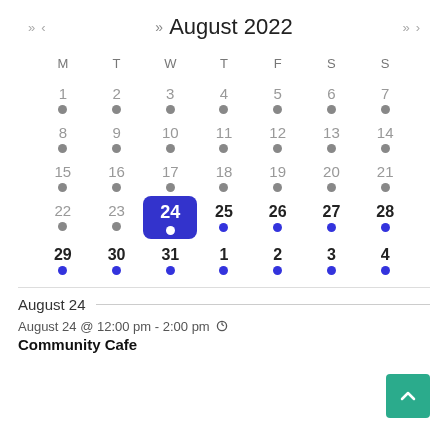August 2022
| M | T | W | T | F | S | S |
| --- | --- | --- | --- | --- | --- | --- |
| 1 | 2 | 3 | 4 | 5 | 6 | 7 |
| 8 | 9 | 10 | 11 | 12 | 13 | 14 |
| 15 | 16 | 17 | 18 | 19 | 20 | 21 |
| 22 | 23 | 24 | 25 | 26 | 27 | 28 |
| 29 | 30 | 31 | 1 | 2 | 3 | 4 |
August 24
August 24 @ 12:00 pm - 2:00 pm
Community Cafe